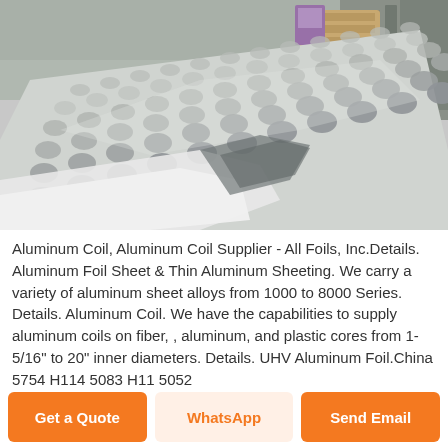[Figure (photo): Close-up photograph of a textured aluminum checker plate sheet in an industrial warehouse setting, showing the diamond/raised pattern on the metallic surface, with white packaging material visible at the edge]
Aluminum Coil, Aluminum Coil Supplier - All Foils, Inc.Details. Aluminum Foil Sheet & Thin Aluminum Sheeting. We carry a variety of aluminum sheet alloys from 1000 to 8000 Series. Details. Aluminum Coil. We have the capabilities to supply aluminum coils on fiber, , aluminum, and plastic cores from 1-5/16" to 20" inner diameters. Details. UHV Aluminum Foil.China 5754 H114 5083 H11 5052
Get a Quote
WhatsApp
Send Email